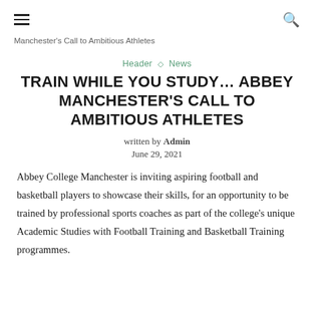≡  🔍
Manchester's Call to Ambitious Athletes
Header ◇ News
TRAIN WHILE YOU STUDY… ABBEY MANCHESTER'S CALL TO AMBITIOUS ATHLETES
written by Admin
June 29, 2021
Abbey College Manchester is inviting aspiring football and basketball players to showcase their skills, for an opportunity to be trained by professional sports coaches as part of the college's unique Academic Studies with Football Training and Basketball Training programmes.